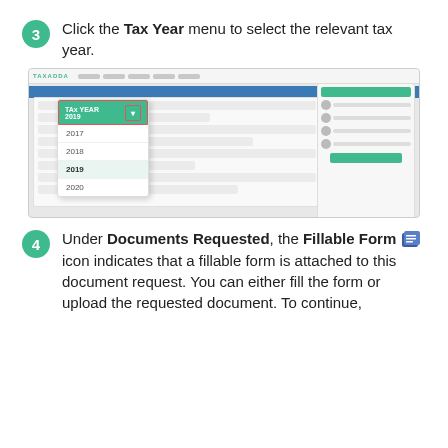3 — Click the Tax Year menu to select the relevant tax year.
[Figure (screenshot): Screenshot of a tax software application (TaxAdda) showing a dropdown menu for Tax Year selection with options 2017, 2018, 2019 (highlighted), 2020. The interface shows a blue header bar and a right-side panel with contacts.]
4 — Under Documents Requested, the Fillable Form icon indicates that a fillable form is attached to this document request. You can either fill the form or upload the requested document. To continue,